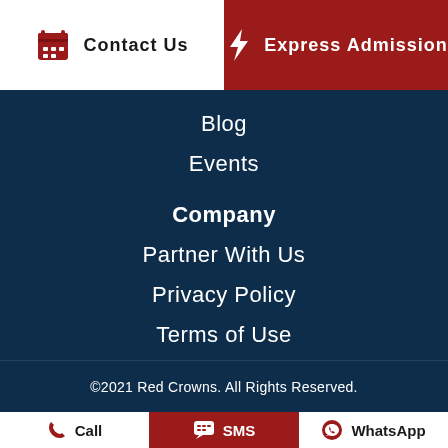Contact Us
Express Admission
Blog
Events
Company
Partner With Us
Privacy Policy
Terms of Use
©2021 Red Crowns. All Rights Reserved.
Call
SMS
WhatsApp